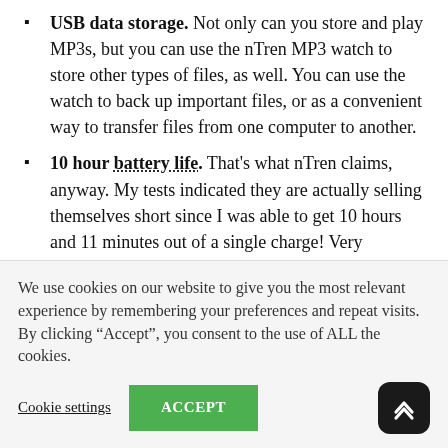USB data storage. Not only can you store and play MP3s, but you can use the nTren MP3 watch to store other types of files, as well. You can use the watch to back up important files, or as a convenient way to transfer files from one computer to another.
10 hour battery life. That's what nTren claims, anyway. My tests indicated they are actually selling themselves short since I was able to get 10 hours and 11 minutes out of a single charge! Very impressive. The battery takes about 3 hours to fully charge, and has a life expectancy of about 3 years.
Water resistant. The instructions say the watch is water resistant to 3-10 BAR. I've never seen a pressure rating expressed as a range before, so I'm not sure whether it's 3 or...
We use cookies on our website to give you the most relevant experience by remembering your preferences and repeat visits. By clicking “Accept”, you consent to the use of ALL the cookies.
Cookie settings  ACCEPT